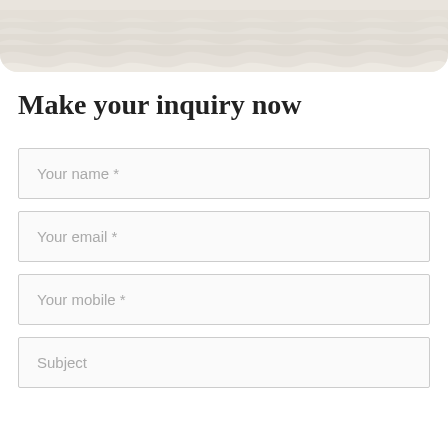[Figure (illustration): Decorative top banner with a beige/cream wavy textured background]
Make your inquiry now
Your name *
Your email *
Your mobile *
Subject